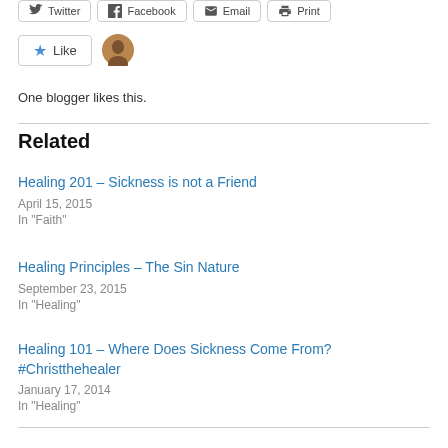[Figure (other): Like button with star icon and blogger avatar thumbnail]
One blogger likes this.
Related
Healing 201 – Sickness is not a Friend
April 15, 2015
In "Faith"
Healing Principles – The Sin Nature
September 23, 2015
In "Healing"
Healing 101 – Where Does Sickness Come From? #Christthehealer
January 17, 2014
In "Healing"